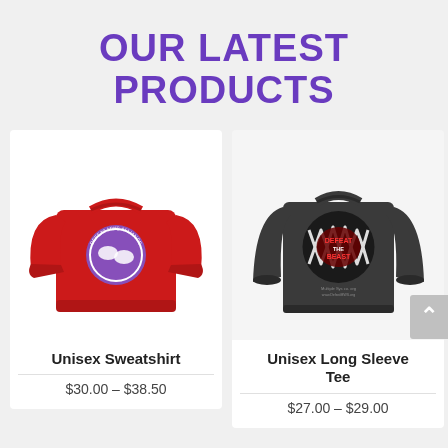OUR LATEST PRODUCTS
[Figure (photo): Red unisex sweatshirt with a circular purple logo/graphic on the chest]
Unisex Sweatshirt
$30.00 – $38.50
[Figure (photo): Dark gray unisex long sleeve tee with a monster mouth graphic and 'Defeat the Beast' text]
Unisex Long Sleeve Tee
$27.00 – $29.00